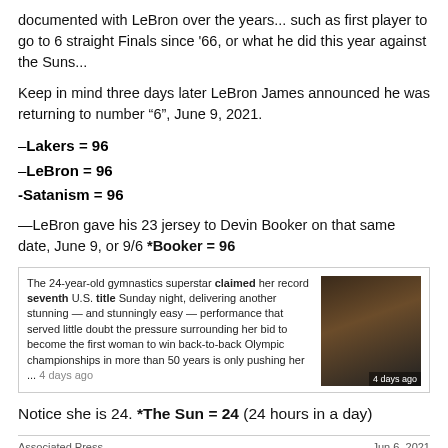documented with LeBron over the years... such as first player to go to 6 straight Finals since '66, or what he did this year against the Suns...
Keep in mind three days later LeBron James announced he was returning to number “6”, June 9, 2021.
–Lakers = 96
–LeBron = 96
-Satanism = 96
—LeBron gave his 23 jersey to Devin Booker on that same date, June 9, or 9/6 *Booker = 96
[Figure (photo): News article snippet with photo of a female gymnast (Simone Biles) raising her arms, with caption: 'The 24-year-old gymnastics superstar claimed her record seventh U.S. title Sunday night, delivering another stunning — and stunningly easy — performance that served little doubt the pressure surrounding her bid to become the first woman to win back-to-back Olympic championships in more than 50 years is only pushing her ... 4 days ago'. Image labeled '4 days ago'.]
Notice she is 24. *The Sun = 24 (24 hours in a day)
Associated Press
Jun 6, 2021
FORT WORTH, Texas -- Simone Biles toned it down. A little, anyway. And